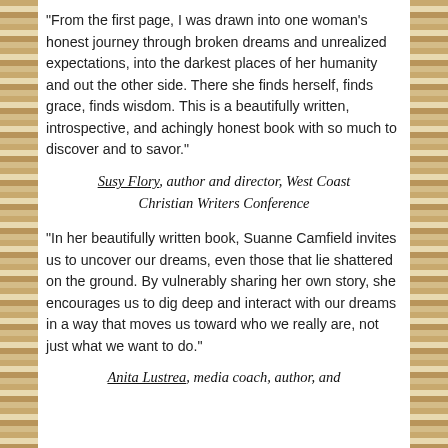"From the first page, I was drawn into one woman's honest journey through broken dreams and unrealized expectations, into the darkest places of her humanity and out the other side. There she finds herself, finds grace, finds wisdom. This is a beautifully written, introspective, and achingly honest book with so much to discover and to savor."
Susy Flory, author and director, West Coast Christian Writers Conference
"In her beautifully written book, Suanne Camfield invites us to uncover our dreams, even those that lie shattered on the ground. By vulnerably sharing her own story, she encourages us to dig deep and interact with our dreams in a way that moves us toward who we really are, not just what we want to do."
Anita Lustrea, media coach, author, and